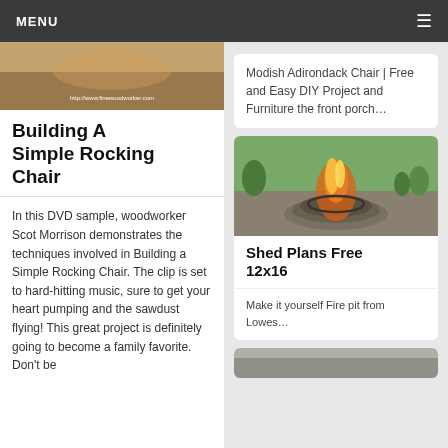MENU
[Figure (photo): Woodworking photo with URL watermark http://www.finewoodworker.com]
Building A Simple Rocking Chair
In this DVD sample, woodworker Scot Morrison demonstrates the techniques involved in Building a Simple Rocking Chair. The clip is set to hard-hitting music, sure to get your heart pumping and the sawdust flying! This great project is definitely going to become a family favorite. Don't be
Modish Adirondack Chair | Free and Easy DIY Project and Furniture the front porch…
[Figure (photo): Fire pit made from stacked stones with fire burning inside, outdoors on grass]
Shed Plans Free 12x16
Make it yourself Fire pit from Lowes…
[Figure (photo): Partially visible image at the bottom of the right column]